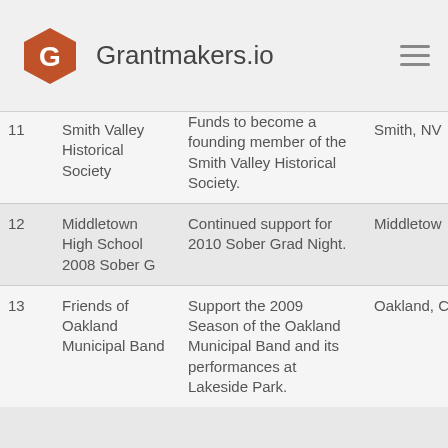Grantmakers.io
| # | Organization | Description | Location |
| --- | --- | --- | --- |
| 11 | Smith Valley Historical Society | Funds to become a founding member of the Smith Valley Historical Society. | Smith, NV |
| 12 | Middletown High School 2008 Sober G | Continued support for 2010 Sober Grad Night. | Middletow |
| 13 | Friends of Oakland Municipal Band | Support the 2009 Season of the Oakland Municipal Band and its performances at Lakeside Park. | Oakland, C |